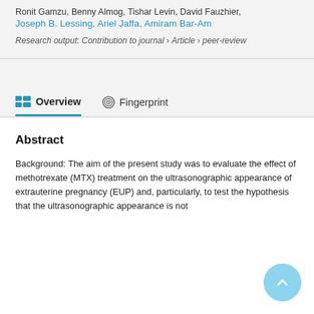Ronit Gamzu, Benny Almog, Tishar Levin, David Fauzhier, Joseph B. Lessing, Ariel Jaffa, Amiram Bar-Am
Research output: Contribution to journal › Article › peer-review
Overview   Fingerprint
Abstract
Background: The aim of the present study was to evaluate the effect of methotrexate (MTX) treatment on the ultrasonographic appearance of extrauterine pregnancy (EUP) and, particularly, to test the hypothesis that the ultrasonographic appearance is not